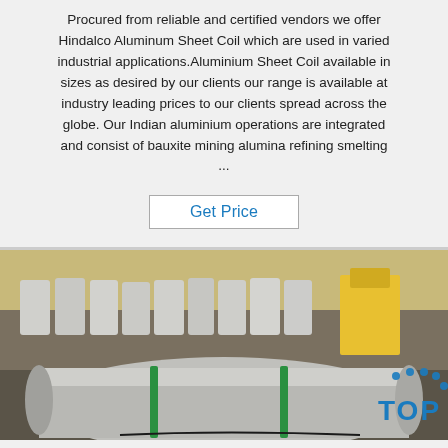Procured from reliable and certified vendors we offer Hindalco Aluminum Sheet Coil which are used in varied industrial applications.Aluminium Sheet Coil available in sizes as desired by our clients our range is available at industry leading prices to our clients spread across the globe. Our Indian aluminium operations are integrated and consist of bauxite mining alumina refining smelting ...
Get Price
[Figure (photo): Photo of aluminium sheet coils in a warehouse/factory setting. Large shiny aluminium coil rolls are visible in the foreground and background on the factory floor.]